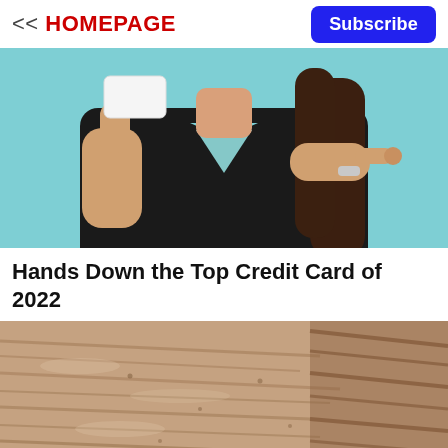<< HOMEPAGE
Subscribe
[Figure (photo): Woman in black v-neck top holding up a white credit card and pointing at it against a teal background]
Hands Down the Top Credit Card of 2022
[Figure (photo): Close-up macro photo of elderly skin showing deep wrinkles and texture around the cheek and nose area]